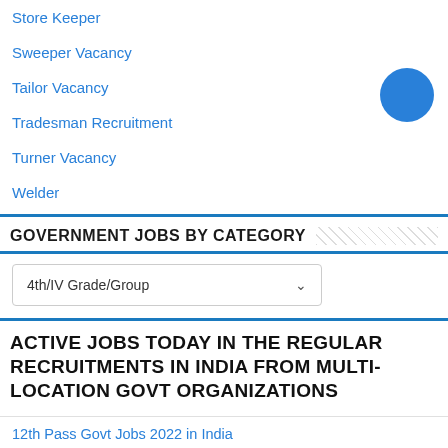Store Keeper
Sweeper Vacancy
Tailor Vacancy
Tradesman Recruitment
Turner Vacancy
Welder
GOVERNMENT JOBS BY CATEGORY
4th/IV Grade/Group
ACTIVE JOBS TODAY IN THE REGULAR RECRUITMENTS IN INDIA FROM MULTI-LOCATION GOVT ORGANIZATIONS
12th Pass Govt Jobs 2022 in India
AIIMS Jobs Recruitment 2022